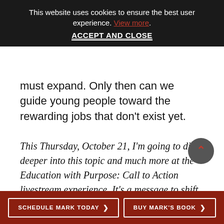This website uses cookies to ensure the best user experience. View more. ACCEPT AND CLOSE
must expand. Only then can we guide young people toward the rewarding jobs that don't exist yet.
This Thursday, October 21, I'm going to dive deeper into this topic and much more at the Education with Purpose: Call to Action livestream experience. It's a message to shift the paradigm in education, workforce, and economic development. Find out more at EWPAction.com. Thanks for listening—we'll see you back here tomorrow on The Perna Syndicate.
SCHEDULE MARK TODAY > | BUY MARK'S BOOK >